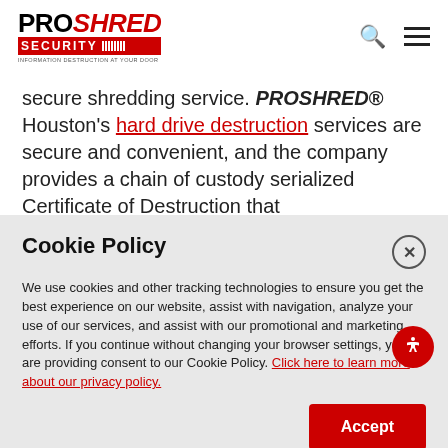PROSHRED SECURITY logo with search and menu icons
secure shredding service. PROSHRED® Houston's hard drive destruction services are secure and convenient, and the company provides a chain of custody serialized Certificate of Destruction that
Cookie Policy
We use cookies and other tracking technologies to ensure you get the best experience on our website, assist with navigation, analyze your use of our services, and assist with our promotional and marketing efforts. If you continue without changing your browser settings, you are providing consent to our Cookie Policy. Click here to learn more about our privacy policy.
Accept